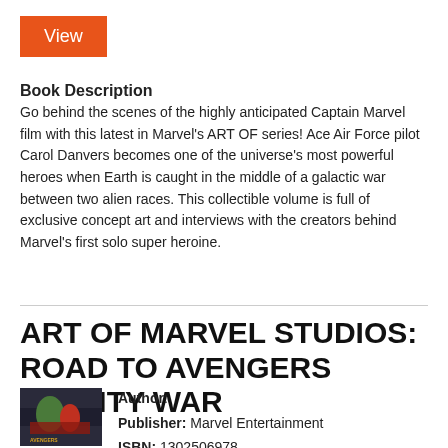View
Book Description
Go behind the scenes of the highly anticipated Captain Marvel film with this latest in Marvel's ART OF series! Ace Air Force pilot Carol Danvers becomes one of the universe's most powerful heroes when Earth is caught in the middle of a galactic war between two alien races. This collectible volume is full of exclusive concept art and interviews with the creators behind Marvel's first solo super heroine.
ART OF MARVEL STUDIOS: ROAD TO AVENGERS INFINITY WAR
[Figure (photo): Book cover of Art of Marvel Studios: Road to Avengers Infinity War showing Marvel superheroes]
Author:
Publisher: Marvel Entertainment
ISBN: 1302506978
Category :